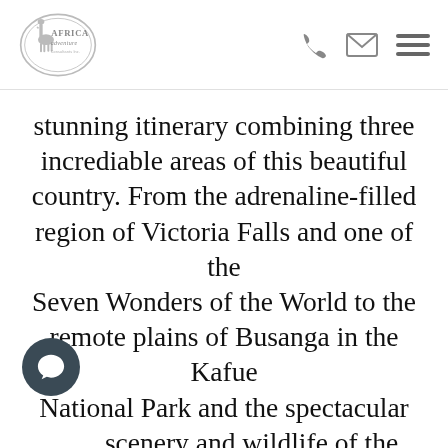[Figure (logo): Africa Adventure Consultants Inc. logo — oval outline with stylized giraffe and text 'Africa adventure Consultants Inc.']
stunning itinerary combining three incrediable areas of this beautiful country. From the adrenaline-filled region of Victoria Falls and one of the Seven Wonders of the World to the remote plains of Busanga in the Kafue National Park and the spectacular scenery and wildlife of the Lower bezi National Park , this itinerary will leave you with a yearning for more